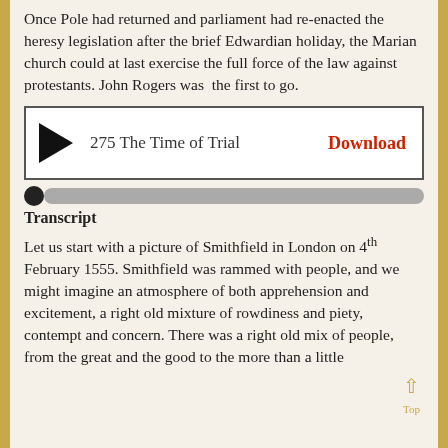Once Pole had returned and parliament had re-enacted the heresy legislation after the brief Edwardian holiday, the Marian church could at last exercise the full force of the law against protestants. John Rogers was the first to go.
[Figure (other): Audio player widget with play button, title '275 The Time of Trial', and a red 'Download' link. Below is a progress bar with a filled dot at the start.]
Transcript
Let us start with a picture of Smithfield in London on 4th February 1555. Smithfield was rammed with people, and we might imagine an atmosphere of both apprehension and excitement, a right old mixture of rowdiness and piety, contempt and concern. There was a right old mix of people, from the great and the good to the more than a little